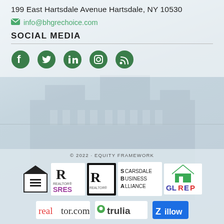199 East Hartsdale Avenue Hartsdale, NY 10530
info@bhgrechoice.com
SOCIAL MEDIA
[Figure (illustration): Social media icons: Facebook, Twitter, LinkedIn, Instagram, RSS]
© 2022 · EQUITY FRAMEWORK
[Figure (logo): Partner and affiliation logos: Equal Housing Opportunity, Realtor SRES, Realtor, Scarsdale Business Alliance, GLREP, realtor.com, trulia, Zillow]